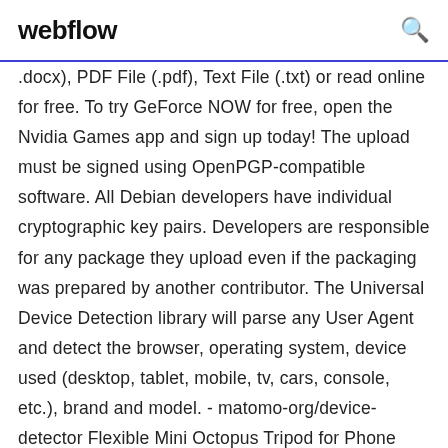webflow
.docx), PDF File (.pdf), Text File (.txt) or read online for free. To try GeForce NOW for free, open the Nvidia Games app and sign up today! The upload must be signed using OpenPGP-compatible software. All Debian developers have individual cryptographic key pairs. Developers are responsible for any package they upload even if the packaging was prepared by another contributor. The Universal Device Detection library will parse any User Agent and detect the browser, operating system, device used (desktop, tablet, mobile, tv, cars, console, etc.), brand and model. - matomo-org/device-detector Flexible Mini Octopus Tripod for Phone with Phone Clip